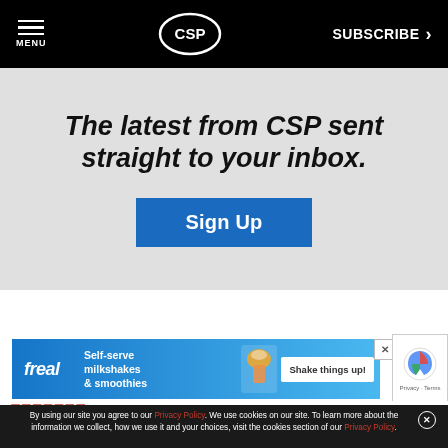MENU | CSP | SUBSCRIBE
The latest from CSP sent straight to your inbox.
Sign Up
[Figure (advertisement): freal milkshakes advertisement banner: Self-serve milkshakes & smoothies. Shake things up!]
[Figure (other): reCAPTCHA widget with Privacy and Terms links]
By using our site you agree to our Privacy Policy. We use cookies on our site. To learn more about the information we collect, how we use it and your choices, visit the cookies section of our Privacy Policy.